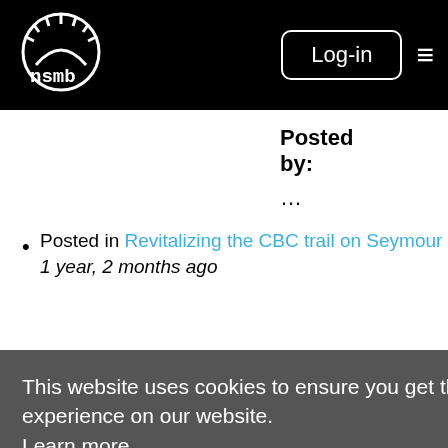nsmb — Log-in
Posted by:
...
Posted in Revitalizing the CBC trail on Seymour
1 year, 2 months ago
Posted by:
mudhoney
Posted by:
...
Posted by:
...
This website uses cookies to ensure you get the best experience on our website.
Learn more
Got it!
Posted in Revitalizing the CBC trail on Seymour
1 year, 2 months ago